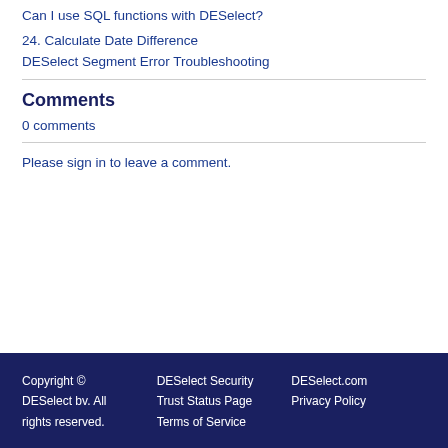Can I use SQL functions with DESelect?
24. Calculate Date Difference
DESelect Segment Error Troubleshooting
Comments
0 comments
Please sign in to leave a comment.
Copyright © DESelect bv. All rights reserved. DESelect Security Trust Status Page Terms of Service DESelect.com Privacy Policy